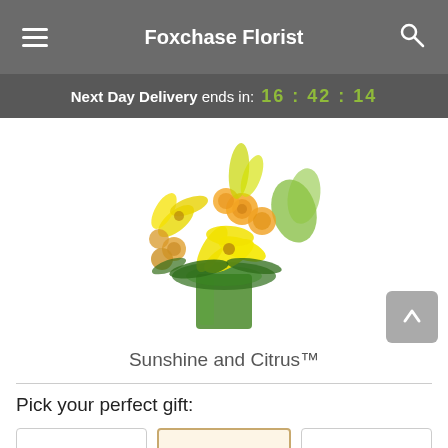Foxchase Florist
Next Day Delivery ends in: 16:42:14
[Figure (photo): Sunshine and Citrus flower arrangement in a green rectangular vase, featuring yellow lilies, orange roses, yellow alstroemeria, and green foliage.]
Sunshine and Citrus™
Pick your perfect gift: